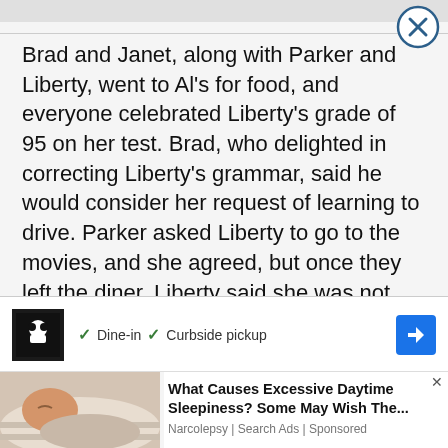Brad and Janet, along with Parker and Liberty, went to Al's for food, and everyone celebrated Liberty's grade of 95 on her test. Brad, who delighted in correcting Liberty's grammar, said he would consider her request of learning to drive. Parker asked Liberty to go to the movies, and she agreed, but once they left the diner, Liberty said she was not really interested in the newest action flick bu
[Figure (other): Advertisement banner showing a restaurant logo with checkmarks for Dine-in and Curbside pickup options, and a blue navigation arrow]
[Figure (photo): Photo of a person sleeping, accompanying an ad for narcolepsy/excessive daytime sleepiness]
What Causes Excessive Daytime Sleepiness? Some May Wish The...
Narcolepsy | Search Ads | Sponsored